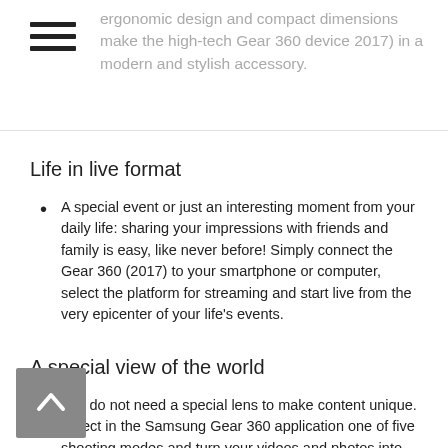ergonomic design and compact dimensions make the high-tech Gear 360 device 2017) in a modern and stylish accessory.
Life in live format
A special event or just an interesting moment from your daily life: sharing your impressions with friends and family is easy, like never before! Simply connect the Gear 360 (2017) to your smartphone or computer, select the platform for streaming and start live from the very epicenter of your life's events.
A special view of the world
You do not need a special lens to make content unique. Select in the Samsung Gear 360 application one of five shooting modes and turn your videos and photos into stunning masterpieces.